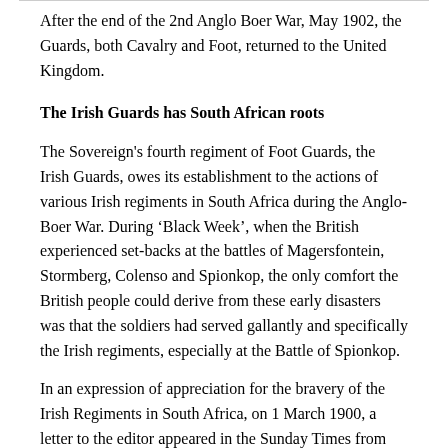After the end of the 2nd Anglo Boer War, May 1902, the Guards, both Cavalry and Foot, returned to the United Kingdom.
The Irish Guards has South African roots
The Sovereign's fourth regiment of Foot Guards, the Irish Guards, owes its establishment to the actions of various Irish regiments in South Africa during the Anglo-Boer War. During ‘Black Week’, when the British experienced set-backs at the battles of Magersfontein, Stormberg, Colenso and Spionkop, the only comfort the British people could derive from these early disasters was that the soldiers had served gallantly and specifically the Irish regiments, especially at the Battle of Spionkop.
In an expression of appreciation for the bravery of the Irish Regiments in South Africa, on 1 March 1900, a letter to the editor appeared in the Sunday Times from Summing Macdona suggesting that the same honour be given them as was the case with English and Scottish Foot “ There are Scotch Guards